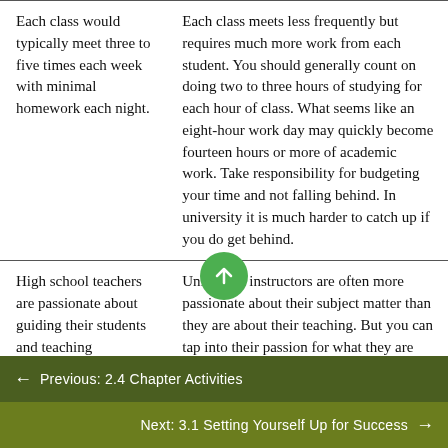Each class would typically meet three to five times each week with minimal homework each night.
Each class meets less frequently but requires much more work from each student. You should generally count on doing two to three hours of studying for each hour of class. What seems like an eight-hour work day may quickly become fourteen hours or more of academic work. Take responsibility for budgeting your time and not falling behind. In university it is much harder to catch up if you do get behind.
High school teachers are passionate about guiding their students and teaching
University instructors are often more passionate about their subject matter than they are about their teaching. But you can tap into their passion for what they are talking about and guide your own learning
← Previous: 2.4 Chapter Activities
Next: 3.1 Setting Yourself Up for Success →